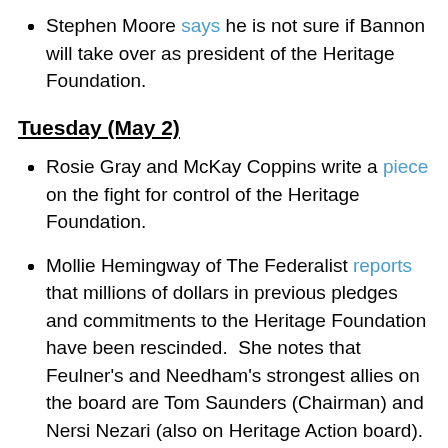Stephen Moore says he is not sure if Bannon will take over as president of the Heritage Foundation.
Tuesday (May 2)
Rosie Gray and McKay Coppins write a piece on the fight for control of the Heritage Foundation.
Mollie Hemingway of The Federalist reports that millions of dollars in previous pledges and commitments to the Heritage Foundation have been rescinded.  She notes that Feulner's and Needham's strongest allies on the board are Tom Saunders (Chairman) and Nersi Nezari (also on Heritage Action board).
The Heritage Foundation board of trustees starts meeting at 9:30am on the 8th floor of the think tank to decide Jim DeMint's fate (without DeMint in the room).  Vote on DeMint was supposed to have occured at 10:30 but delayed until